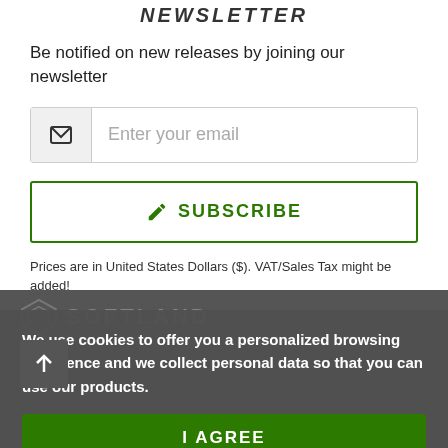NEWSLETTER
Be notified on new releases by joining our newsletter
Enter your email
✎ SUBSCRIBE
Prices are in United States Dollars ($). VAT/Sales Tax might be added!
We use cookies to offer you a personalized browsing experience and we collect personal data so that you can use our products.
I AGREE
READ MORE